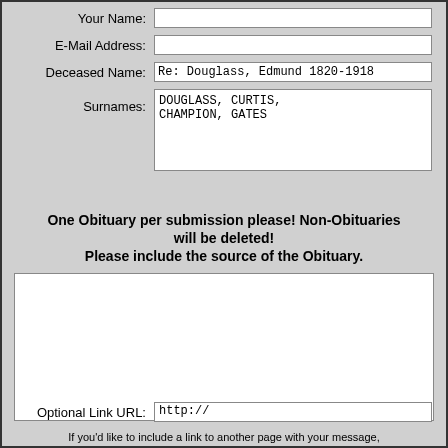Your Name:
E-Mail Address:
Deceased Name: Re: Douglass, Edmund 1820-1918
Surnames: DOUGLASS, CURTIS, CHAMPION, GATES
One Obituary per submission please! Non-Obituaries will be deleted! Please include the source of the Obituary.
If you'd like to include a link to another page with your message, please provide both the URL address and the title of the page:
Optional Link URL: http://